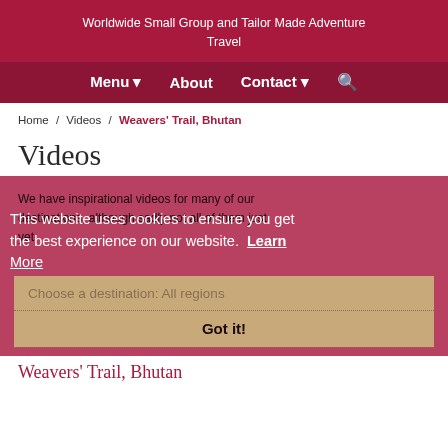Worldwide Small Group and Tailor Made Adventure Travel
Menu  About  Contact  Search
Home / Videos / Weavers' Trail, Bhutan
Videos
We have inspirational videos for many of our destinations, although sadly not all of them just yet.
This website uses cookies to ensure you get the best experience on our website.  Learn More
Choose a destination: All regions
Got it!
Weavers' Trail, Bhutan